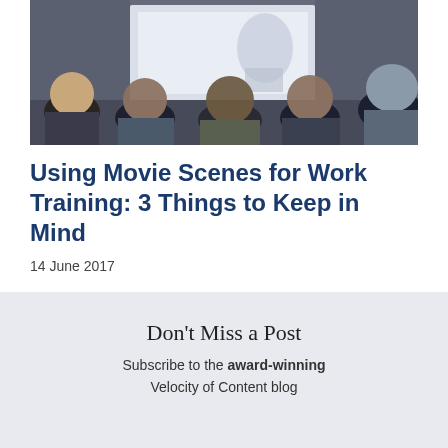[Figure (photo): Photo of the backs of people's heads in an audience or training session, facing a bright projection screen at the front of a room.]
Using Movie Scenes for Work Training: 3 Things to Keep in Mind
14 June 2017
Don't Miss a Post
Subscribe to the award-winning Velocity of Content blog